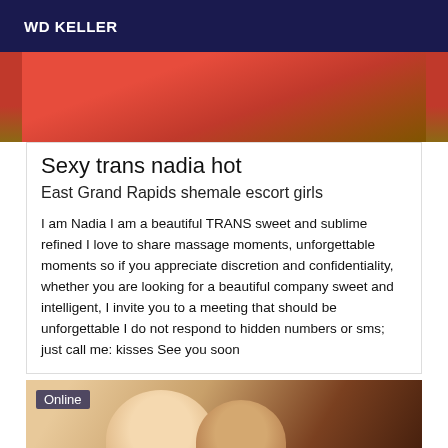WD KELLER
[Figure (photo): Partial photo showing a person in a red top, cropped at the top of the page]
Sexy trans nadia hot
East Grand Rapids shemale escort girls
I am Nadia I am a beautiful TRANS sweet and sublime refined I love to share massage moments, unforgettable moments so if you appreciate discretion and confidentiality, whether you are looking for a beautiful company sweet and intelligent, I invite you to a meeting that should be unforgettable I do not respond to hidden numbers or sms; just call me: kisses See you soon
[Figure (photo): Photo of two women together, one blonde and one brunette, with an 'Online' badge overlay]